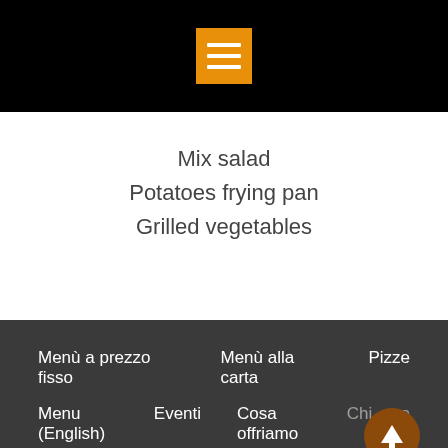[Figure (screenshot): Black header bar with orange hamburger menu icon (three white horizontal lines on orange square background)]
Mix salad
Potatoes frying pan
Grilled vegetables
Menù a prezzo fisso   Menù alla carta   Pizze   Menu (English)   Eventi   Cosa offriamo   Chi siamo   Contatti
Copyright © All rights reserved.
Powered by WordPress | Restaurantz by WEN Themes